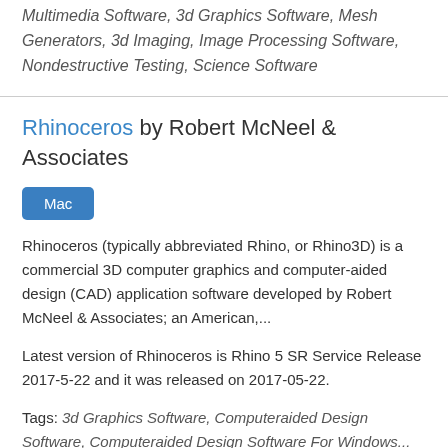Multimedia Software, 3d Graphics Software, Mesh Generators, 3d Imaging, Image Processing Software, Nondestructive Testing, Science Software
Rhinoceros by Robert McNeel & Associates
Mac
Rhinoceros (typically abbreviated Rhino, or Rhino3D) is a commercial 3D computer graphics and computer-aided design (CAD) application software developed by Robert McNeel & Associates; an American,...
Latest version of Rhinoceros is Rhino 5 SR Service Release 2017-5-22 and it was released on 2017-05-22.
Tags: 3d Graphics Software, Computeraided Design Software, Computeraided Design Software For Windows...